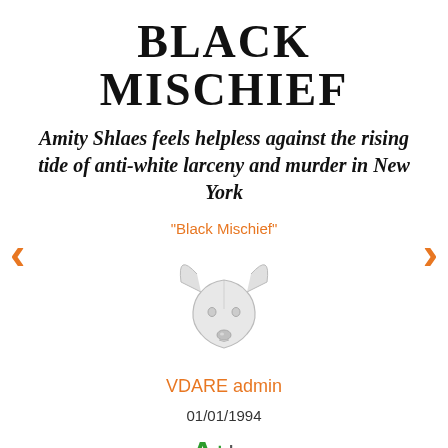BLACK MISCHIEF
Amity Shlaes feels helpless against the rising tide of anti-white larceny and murder in New York
"Black Mischief"
[Figure (logo): VDARE antelope/deer head logo in light gray outline]
VDARE admin
01/01/1994
A+ | a-